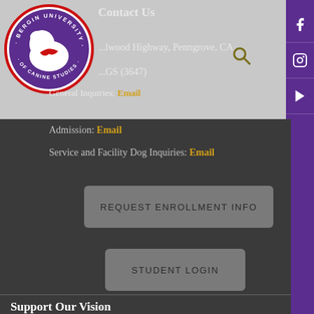[Figure (logo): Bergin University of Canine Studies circular logo with dog silhouette]
Contact Us
...lwood Highway, Penngrove, CA
...GS (3647)
General Inquiries: Email
Admission: Email
Service and Facility Dog Inquiries: Email
REQUEST ENROLLMENT INFO
STUDENT LOGIN
Support Our Vision